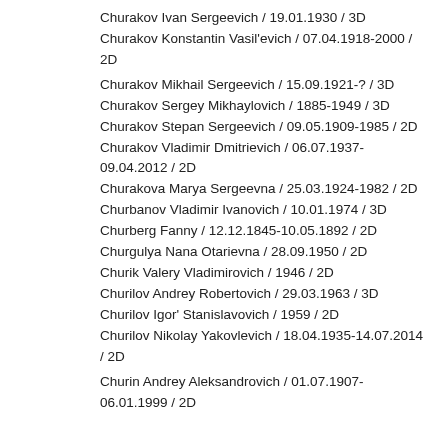Churakov Ivan Sergeevich / 19.01.1930 / 3D
Churakov Konstantin Vasil'evich / 07.04.1918-2000 / 2D
Churakov Mikhail Sergeevich / 15.09.1921-? / 3D
Churakov Sergey Mikhaylovich / 1885-1949 / 3D
Churakov Stepan Sergeevich / 09.05.1909-1985 / 2D
Churakov Vladimir Dmitrievich / 06.07.1937-09.04.2012 / 2D
Churakova Marya Sergeevna / 25.03.1924-1982 / 2D
Churbanov Vladimir Ivanovich / 10.01.1974 / 3D
Churberg Fanny / 12.12.1845-10.05.1892 / 2D
Churgulya Nana Otarievna / 28.09.1950 / 2D
Churik Valery Vladimirovich / 1946 / 2D
Churilov Andrey Robertovich / 29.03.1963 / 3D
Churilov Igor' Stanislavovich / 1959 / 2D
Churilov Nikolay Yakovlevich / 18.04.1935-14.07.2014 / 2D
Churin Andrey Aleksandrovich / 01.07.1907-06.01.1999 / 2D